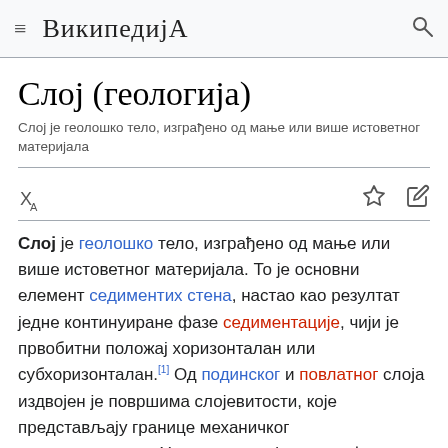Википедија
Слој (геологија)
Слој је геолошко тело, изграђено од мање или више истоветног материјала
Слој је геолошко тело, изграђено од мање или више истоветног материјала. То је основни елемент седиментих стена, настао као резултат једне континуиране фазе седиментације, чији је првобитни положај хоризонталан или субхоризонталан.[1] Од подинског и повлатног слоја издвојен је површима слојевитости, које представљају границе механичког дисконтинуитета. Управно растојање између доње и горње површи слојевитости је дебљина слоја. Према